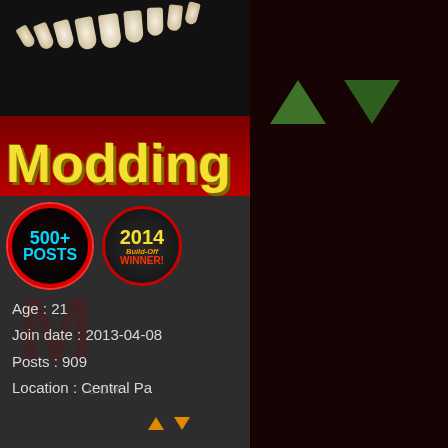[Figure (screenshot): Forum post page showing user profile on the left with 'Modding' banner image, 500+ posts badge, 2014 Build-Off Winner badge, user stats (Age: 21, Join date: 2013-04-08, Posts: 909, Location: Central Pa), and a like button. Right side shows navigation arrows and a like button. Bottom left shows user 'crafsmankiller' with rank 'Frequent Poster' and mower rank icons. Bottom right shows post subject 'Re: Lawn Chief Life' and post body text.]
Age : 21
Join date : 2013-04-08
Posts : 909
Location : Central Pa
crafsmankiller
Frequent Poster
Subject: Re: Lawn Chief Life
Does your lawnchief have the the front?
Age : 24